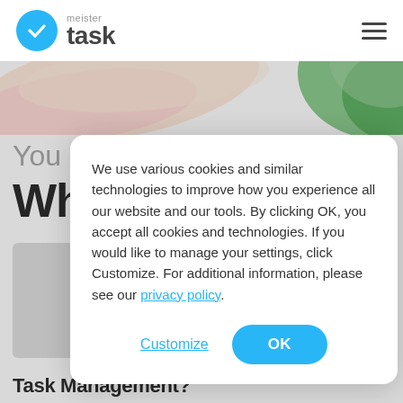[Figure (logo): MeisterTask logo: blue circle with white checkmark, beside 'meister' in small gray text above 'task' in large dark bold text]
[Figure (illustration): Decorative colorful swoosh shapes in the banner area below the navbar — warm pastel colors on the left, green on the right]
We use various cookies and similar technologies to improve how you experience all our website and our tools. By clicking OK, you accept all cookies and technologies. If you would like to manage your settings, click Customize. For additional information, please see our privacy policy.
Customize
OK
Task Management?